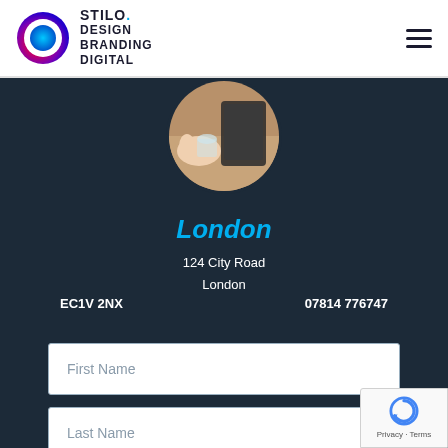[Figure (logo): Stilo Design Branding Digital logo with circular gradient icon and company name text]
[Figure (photo): Circular cropped photo showing hands working at a table with a tablet/device]
London
124 City Road
London
EC1V 2NX    07814 776747
First Name
Last Name